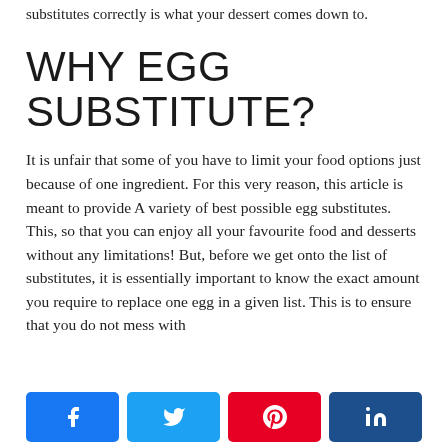substitutes correctly is what your dessert comes down to.
WHY EGG SUBSTITUTE?
It is unfair that some of you have to limit your food options just because of one ingredient. For this very reason, this article is meant to provide A variety of best possible egg substitutes. This, so that you can enjoy all your favourite food and desserts without any limitations! But, before we get onto the list of substitutes, it is essentially important to know the exact amount you require to replace one egg in a given list. This is to ensure that you do not mess with